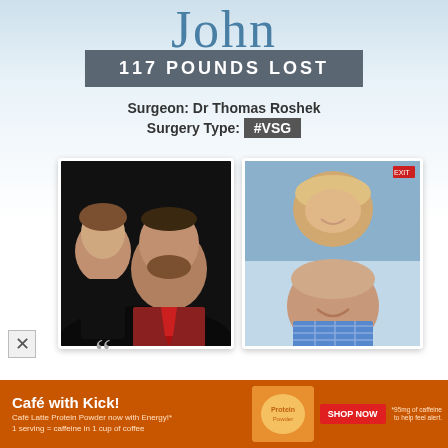John
117 POUNDS LOST
Surgeon: Dr Thomas Roshek
Surgery Type: #VSG
[Figure (photo): Before photo: couple posing together, man with beard wearing red tie, woman with light hair, dark background]
[Figure (photo): After photo: selfie of smiling couple, man wearing blue checked shirt, woman with blonde hair, indoor setting]
[Figure (photo): Advertisement banner: Café with Kick! Café Latte Protein Powder now with Energy! 1 serving = caffeine in 1 cup of coffee. SHOP NOW. *95mg of caffeine to help feel alert.]